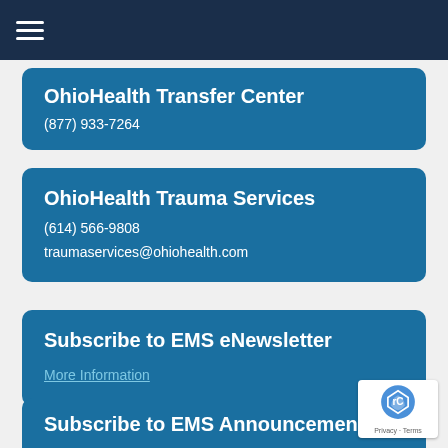OhioHealth Transfer Center
(877) 933-7264
OhioHealth Trauma Services
(614) 566-9808
traumaservices@ohiohealth.com
Subscribe to EMS eNewsletter
More Information
Subscribe to EMS Announcements